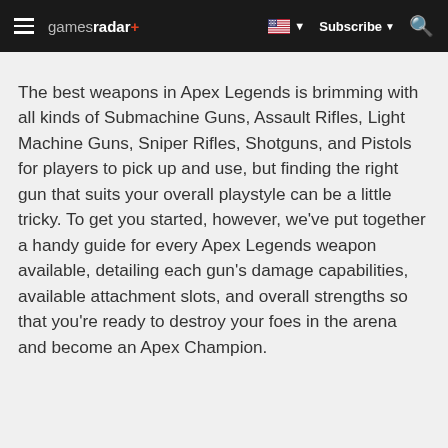gamesradar+ — Subscribe — Search
The best weapons in Apex Legends is brimming with all kinds of Submachine Guns, Assault Rifles, Light Machine Guns, Sniper Rifles, Shotguns, and Pistols for players to pick up and use, but finding the right gun that suits your overall playstyle can be a little tricky. To get you started, however, we've put together a handy guide for every Apex Legends weapon available, detailing each gun's damage capabilities, available attachment slots, and overall strengths so that you're ready to destroy your foes in the arena and become an Apex Champion.